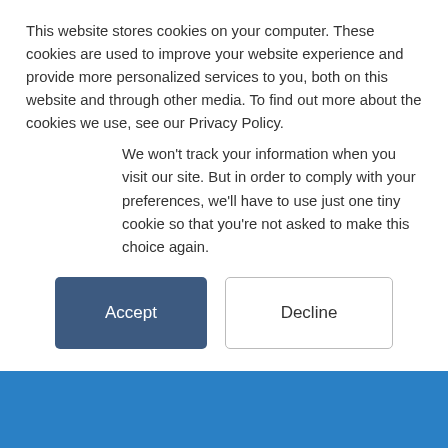This website stores cookies on your computer. These cookies are used to improve your website experience and provide more personalized services to you, both on this website and through other media. To find out more about the cookies we use, see our Privacy Policy.
We won't track your information when you visit our site. But in order to comply with your preferences, we'll have to use just one tiny cookie so that you're not asked to make this choice again.
beginning every person I have spoken to and have had the pleasure of working with has been kind,
Icielani
Twitter @Icielani
5.00